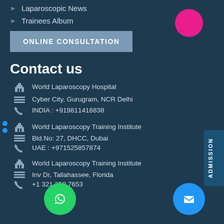Laparoscopic News
Trainees Album
ONLINE CONSULTATION
Contact us
World Laparoscopy Hospital
Cyber City, Gurugram, NCR Delhi
INDIA : +919811416838
World Laparoscopy Training Institute
Bld.No: 27, DHCC, Dubai
UAE : +971525857874
World Laparoscopy Training Institute
Inv Dr, Tallahassee, Florida
+1 321 250 7653
ADMISSION